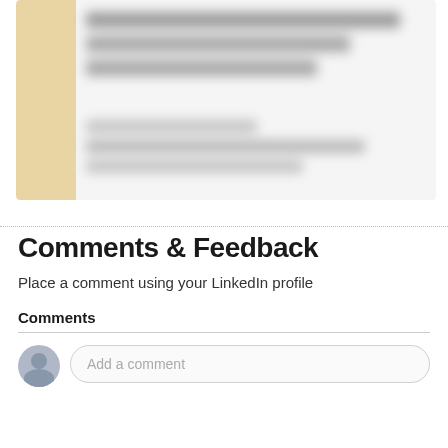[Figure (screenshot): Blurred/redacted content card with a tan/beige left sidebar bar and blurred text content on a light gray background]
Comments & Feedback
Place a comment using your LinkedIn profile
Comments
[Figure (screenshot): Comment input area with a gray user avatar icon and a rounded input field placeholder reading 'Add a comment']